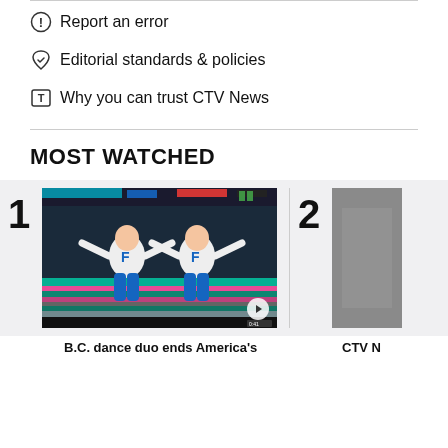Report an error
Editorial standards & policies
Why you can trust CTV News
MOST WATCHED
[Figure (screenshot): CTV News most watched video thumbnail #1: B.C. dance duo ends America's — two young men in white F-letter shirts dancing on a colorful TV stage set]
B.C. dance duo ends America's
[Figure (photo): CTV News most watched video thumbnail #2 (partially visible)]
CTV N